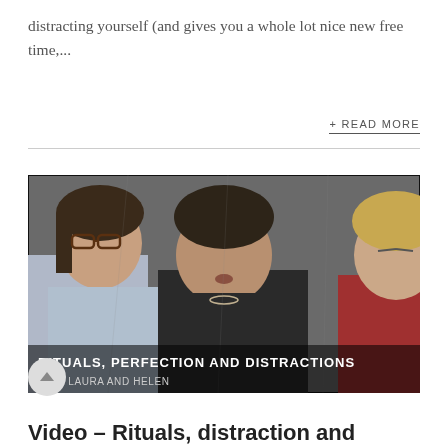distracting yourself (and gives you a whole lot nice new free time,...
+ READ MORE
[Figure (screenshot): Video thumbnail showing three women sitting together. Text overlay reads 'RITUALS, PERFECTION AND DISTRACTIONS' and 'SAM, LAURA AND HELEN']
Video – Rituals, distraction and